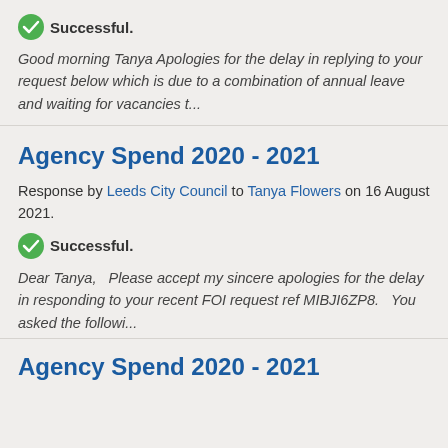Successful.
Good morning Tanya Apologies for the delay in replying to your request below which is due to a combination of annual leave and waiting for vacancies t...
Agency Spend 2020 - 2021
Response by Leeds City Council to Tanya Flowers on 16 August 2021.
Successful.
Dear Tanya,   Please accept my sincere apologies for the delay in responding to your recent FOI request ref MIBJI6ZP8.   You asked the followi...
Agency Spend 2020 - 2021